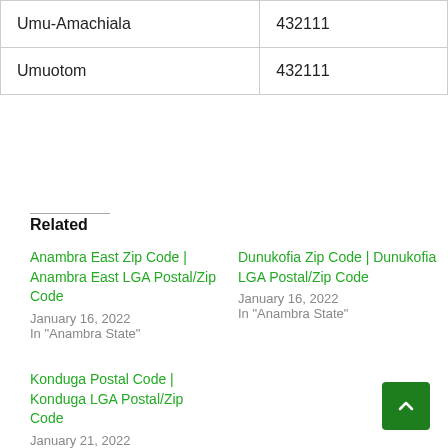| Umu-Amachiala | 432111 |
| Umuotom | 432111 |
Related
Anambra East Zip Code | Anambra East LGA Postal/Zip Code
January 16, 2022
In "Anambra State"
Dunukofia Zip Code | Dunukofia LGA Postal/Zip Code
January 16, 2022
In "Anambra State"
Konduga Postal Code | Konduga LGA Postal/Zip Code
January 21, 2022
In "Borno State"